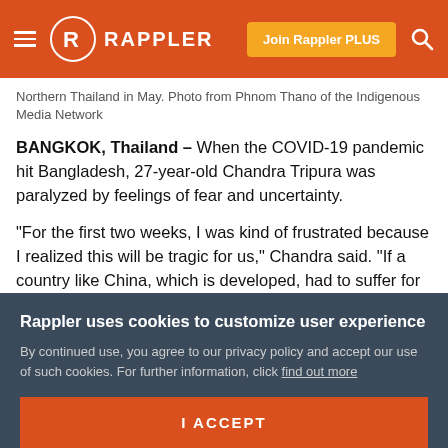RAPPLER
Northern Thailand in May. Photo from Phnom Thano of the Indigenous Media Network
BANGKOK, Thailand – When the COVID-19 pandemic hit Bangladesh, 27-year-old Chandra Tripura was paralyzed by feelings of fear and uncertainty.
“For the first two weeks, I was kind of frustrated because I realized this will be tragic for us,” Chandra said. “If a country like China, which is developed, had to suffer for 3 months, Bangladesh, which is underdeveloped, could take
Rappler uses cookies to customize user experience
By continued use, you agree to our privacy policy and accept our use of such cookies. For further information, click find out more
I ACCEPT